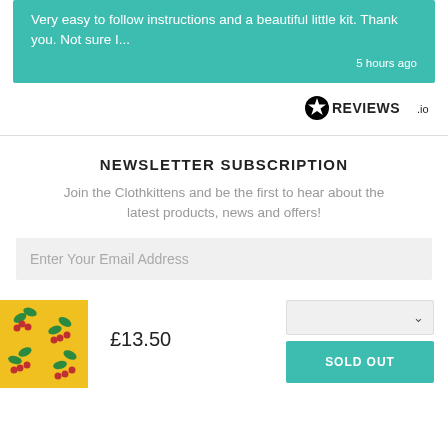Very easy to follow instructions and a beautiful little kit. Thank you. Not sure I...
5 hours ago
[Figure (logo): REVIEWS.io logo with star icon]
NEWSLETTER SUBSCRIPTION
Join the Clothkittens and be the first to hear about the latest products, news and offers!
Enter Your Email Address
[Figure (photo): Yellow fabric with floral pattern (red and green flowers)]
£13.50
SOLD OUT